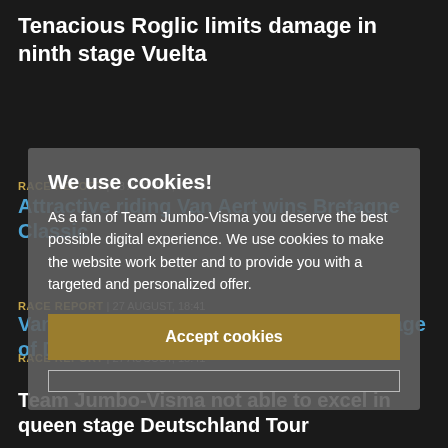Tenacious Roglic limits damage in ninth stage Vuelta
RACE REPORT | 28 AUGUST, 18:40
Attractive riding Van Aert wins Bretagne Classic
We use cookies!
As a fan of Team Jumbo-Visma you deserve the best possible digital experience. We use cookies to make the website work better and to provide you with a targeted and personalized offer.
Accept cookies
RACE REPORT | 27 AUGUST, 18:41
Van Dijke shows his potential in final stage of Deutschland Tour
RACE REPORT | 27 AUGUST, 18:41
Team Jumbo-Visma not able to excel in queen stage Deutschland Tour